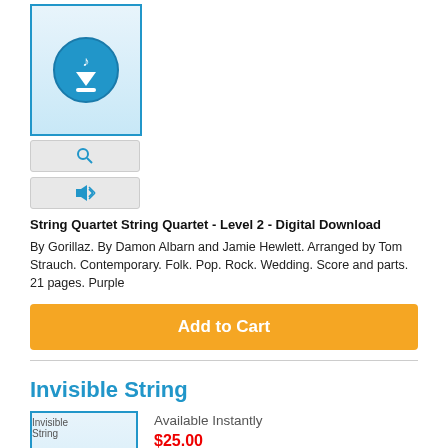[Figure (other): Download icon button - blue circle with music note and down arrow on gradient blue background]
[Figure (other): Small search magnifying glass button]
[Figure (other): Small audio/speaker button]
String Quartet String Quartet - Level 2 - Digital Download By Gorillaz. By Damon Albarn and Jamie Hewlett. Arranged by Tom Strauch. Contemporary. Folk. Pop. Rock. Wedding. Score and parts. 21 pages. Purple
Add to Cart
Invisible String
[Figure (other): Invisible String product image with download icon]
Available Instantly
$25.00
[Figure (other): Small search magnifying glass button]